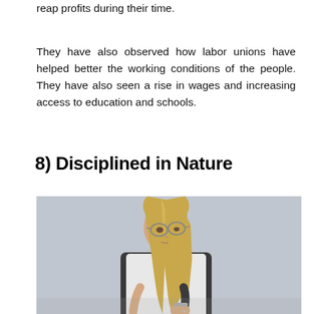reap profits during their time.
They have also observed how labor unions have helped better the working conditions of the people. They have also seen a rise in wages and increasing access to education and schools.
8) Disciplined in Nature
[Figure (photo): A young woman with long blonde hair and glasses, wearing a white shirt and dark vest, looking downward at her hands. She is photographed against a light gray textured wall background.]